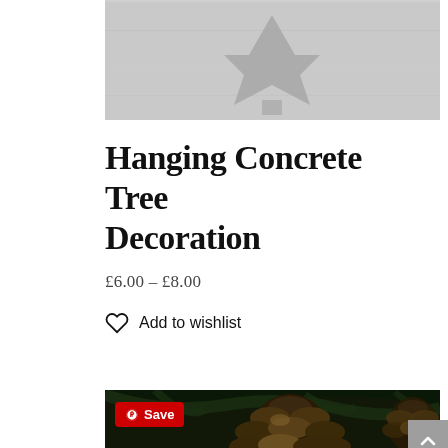[Figure (photo): Photo of a hanging concrete star/tree decoration in grey tones on a light background]
Hanging Concrete Tree Decoration
£6.00 – £8.00
Add to wishlist
[Figure (photo): Dark atmospheric photo of a pinecone and concrete star decoration with gold Christmas lights and pine branches, with a Pinterest Save badge overlay]